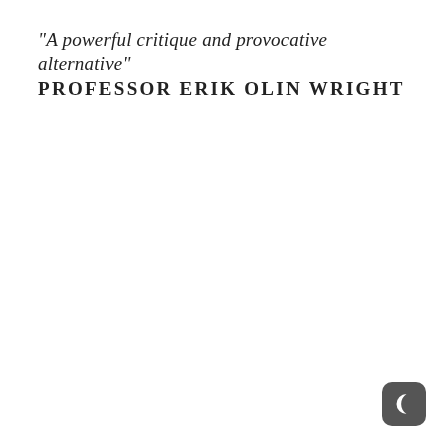"A powerful critique and provocative alternative" PROFESSOR ERIK OLIN WRIGHT
[Figure (illustration): A rounded square UI icon with a dark gray background containing a white crescent moon symbol, positioned at the bottom-right corner of the page.]